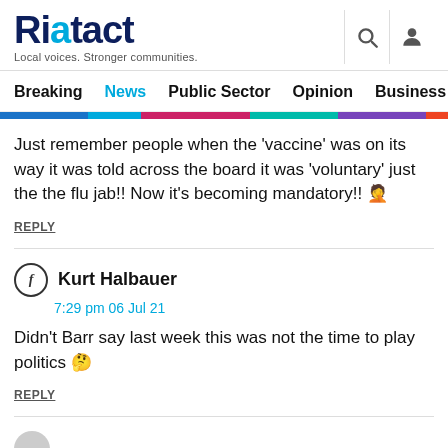Riotact - Local voices. Stronger communities.
Breaking | News | Public Sector | Opinion | Business | R
Just remember people when the 'vaccine' was on its way it was told across the board it was 'voluntary' just the the flu jab!! Now it's becoming mandatory!! 🤦
REPLY
Kurt Halbauer
7:29 pm 06 Jul 21
Didn't Barr say last week this was not the time to play politics 🤔
REPLY